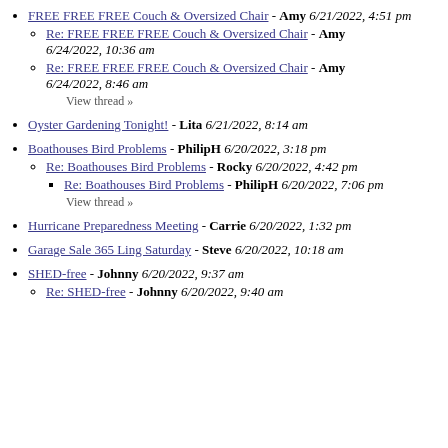FREE FREE FREE Couch & Oversized Chair - Amy 6/21/2022, 4:51 pm
Re: FREE FREE FREE Couch & Oversized Chair - Amy 6/24/2022, 10:36 am
Re: FREE FREE FREE Couch & Oversized Chair - Amy 6/24/2022, 8:46 am
View thread »
Oyster Gardening Tonight! - Lita 6/21/2022, 8:14 am
Boathouses Bird Problems - PhilipH 6/20/2022, 3:18 pm
Re: Boathouses Bird Problems - Rocky 6/20/2022, 4:42 pm
Re: Boathouses Bird Problems - PhilipH 6/20/2022, 7:06 pm
View thread »
Hurricane Preparedness Meeting - Carrie 6/20/2022, 1:32 pm
Garage Sale 365 Ling Saturday - Steve 6/20/2022, 10:18 am
SHED-free - Johnny 6/20/2022, 9:37 am
Re: SHED-free - Johnny 6/20/2022, 9:40 am